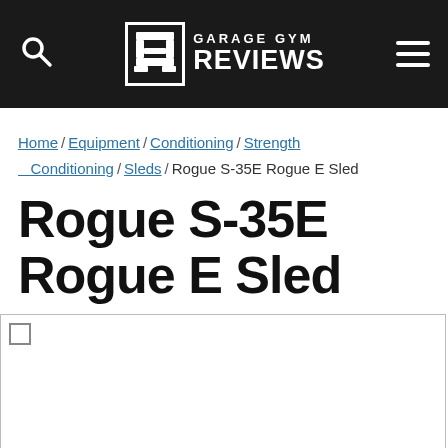Garage Gym Reviews
Home / Equipment / Conditioning / Strength Conditioning / Sleds / Rogue S-35E Rogue E Sled
Rogue S-35E Rogue E Sled
[Figure (photo): Empty white image placeholder area with a small checkbox in the top-left corner]